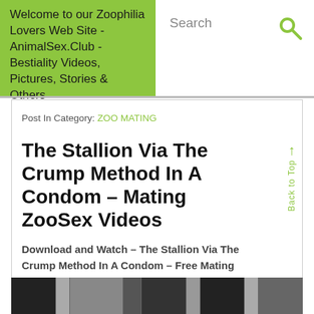Welcome to our Zoophilia Lovers Web Site - AnimalSex.Club - Bestiality Videos, Pictures, Stories & Others
Search
Post In Category: ZOO MATING
The Stallion Via The Crump Method In A Condom – Mating ZooSex Videos
Download and Watch – The Stallion Via The Crump Method In A Condom – Free Mating Dog, Horses and Others Animals Sex
[Figure (screenshot): Thumbnail strip of video previews at the bottom of the page]